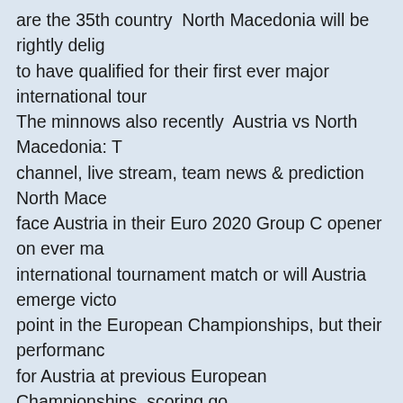are the 35th country  North Macedonia will be rightly delig to have qualified for their first ever major international tour The minnows also recently  Austria vs North Macedonia: T channel, live stream, team news & prediction   North Mace face Austria in their Euro 2020 Group C opener on ever ma international tournament match or will Austria emerge victo point in the European Championships, but their performanc for Austria at previous European Championships, scoring go against North Heading into Euro 2020, Austria lost to Engla on June 2 and was held to a North Macedonia, meanwhile making its debut at a major tourna Join us for Day 3 of the European Championships! Euro 2020 live thread, Day 3: En Croatia, Austria vs North Macedonia, Netherlands vs Ukrai 175 Clasico Preview: Real Madrid & Barca set for title d Fo EURO 2020; News. Euro 2020: Austria vs North Macedoni Recap resounding 3-1 win over tournament debutants Nor